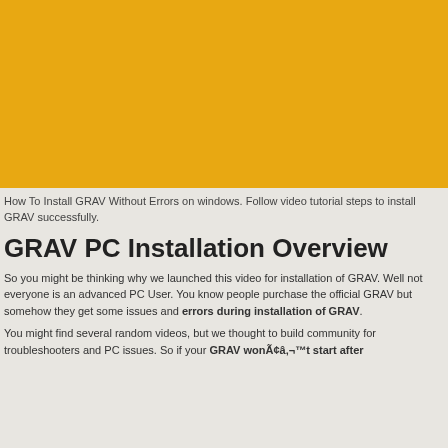[Figure (other): Golden/amber colored rectangular image placeholder, likely a video thumbnail for a GRAV installation tutorial.]
How To Install GRAV Without Errors on windows. Follow video tutorial steps to install GRAV successfully.
GRAV PC Installation Overview
So you might be thinking why we launched this video for installation of GRAV. Well not everyone is an advanced PC User. You know people purchase the official GRAV but somehow they get some issues and errors during installation of GRAV.
You might find several random videos, but we thought to build community for troubleshooters and PC issues. So if your GRAV wonÃ¢â¬™t start after